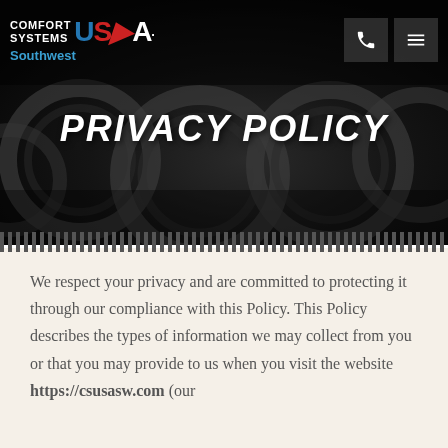[Figure (screenshot): Comfort Systems USA Southwest website header with dark industrial pipe background]
COMFORT SYSTEMS USA Southwest
PRIVACY POLICY
We respect your privacy and are committed to protecting it through our compliance with this Policy. This Policy describes the types of information we may collect from you or that you may provide to us when you visit the website https://csusasw.com (our